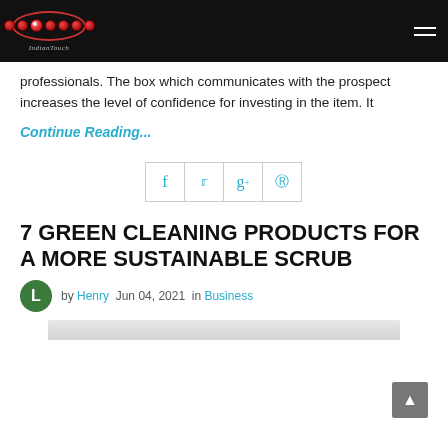IndianTouch logo and hamburger menu
professionals. The box which communicates with the prospect increases the level of confidence for investing in the item. It
Continue Reading...
[Figure (infographic): Social sharing icons: Facebook (f), Twitter (bird), Google+ (g+), Pinterest (P) — each in a bordered square]
7 GREEN CLEANING PRODUCTS FOR A MORE SUSTAINABLE SCRUB
by Henry  Jun 04, 2021  in Business
[Figure (photo): Partial article image strip at bottom of page]